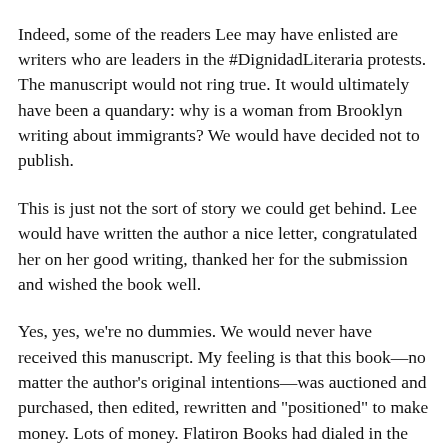Indeed, some of the readers Lee may have enlisted are writers who are leaders in the #DignidadLiteraria protests. The manuscript would not ring true. It would ultimately have been a quandary: why is a woman from Brooklyn writing about immigrants? We would have decided not to publish.
This is just not the sort of story we could get behind. Lee would have written the author a nice letter, congratulated her on her good writing, thanked her for the submission and wished the book well.
Yes, yes, we're no dummies. We would never have received this manuscript. My feeling is that this book—no matter the author's original intentions—was auctioned and purchased, then edited, rewritten and "positioned" to make money. Lots of money. Flatiron Books had dialed in the formula for the NYT Best Seller List, and had Oprah and movie contracts in their sights from the beginning.
The generic "American Reader" was identified. Checking for authenticity was sacrificed in favor of sales. Sales teams started hyping "product", not books. That level of book publishing is about branding, not diverse voices and literature. That book was the...